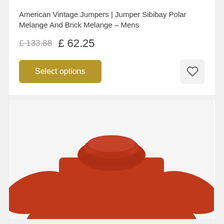American Vintage Jumpers | Jumper Sibibay Polar Melange And Brick Melange – Mens
£ 133.88  £ 62.25
Select options
[Figure (photo): Red/brick coloured turtleneck jumper from American Vintage with a SALE banner in the top-left corner of the product card]